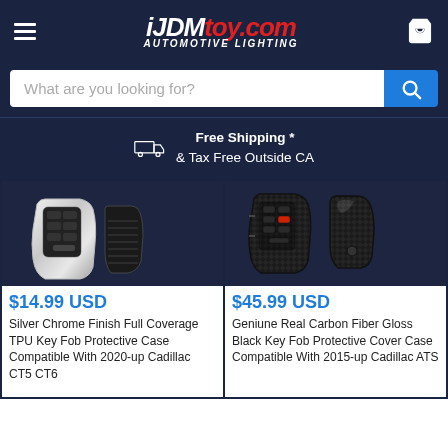[Figure (logo): iJDMToy.com Automotive Lighting logo with hamburger menu and cart icon on dark navy background]
What are you looking for?
Free Shipping * & Tax Free Outside CA
[Figure (photo): Silver Chrome Finish Full Coverage TPU Key Fob Protective Case for 2020-up Cadillac CT5 CT6]
[Figure (photo): Genuine Real Carbon Fiber Gloss Black Key Fob Protective Cover Case for 2015-up Cadillac ATS]
$14.99 USD
Silver Chrome Finish Full Coverage TPU Key Fob Protective Case Compatible With 2020-up Cadillac CT5 CT6
$45.99 USD
Geniune Real Carbon Fiber Gloss Black Key Fob Protective Cover Case Compatible With 2015-up Cadillac ATS